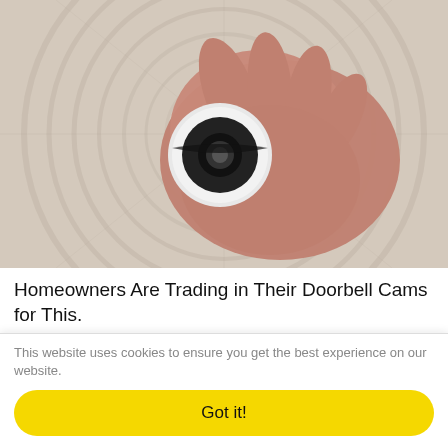[Figure (photo): A hand holding/installing a white round doorbell camera against a woven circular background]
Homeowners Are Trading in Their Doorbell Cams for This.
Keilini.com
The factory model of education, with its focus on academic
This website uses cookies to ensure you get the best experience on our website.
Got it!